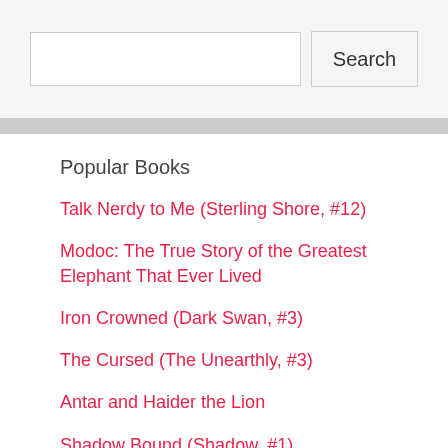Search
Popular Books
Talk Nerdy to Me (Sterling Shore, #12)
Modoc: The True Story of the Greatest Elephant That Ever Lived
Iron Crowned (Dark Swan, #3)
The Cursed (The Unearthly, #3)
Antar and Haider the Lion
Shadow Bound (Shadow, #1)